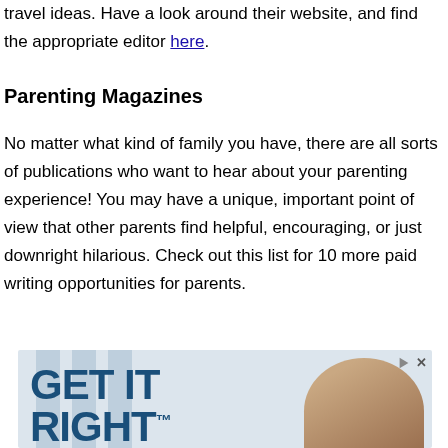travel ideas. Have a look around their website, and find the appropriate editor here.
Parenting Magazines
No matter what kind of family you have, there are all sorts of publications who want to hear about your parenting experience! You may have a unique, important point of view that other parents find helpful, encouraging, or just downright hilarious. Check out this list for 10 more paid writing opportunities for parents.
[Figure (advertisement): Advertisement banner with 'GET IT RIGHT™' text in bold dark blue letters and a woman with curly hair on the right side. Columns visible in background.]